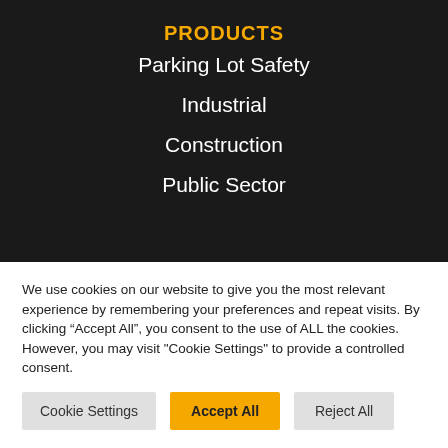PRODUCTS
Parking Lot Safety
Industrial
Construction
Public Sector
We use cookies on our website to give you the most relevant experience by remembering your preferences and repeat visits. By clicking “Accept All”, you consent to the use of ALL the cookies. However, you may visit "Cookie Settings" to provide a controlled consent.
Cookie Settings | Accept All | Reject All